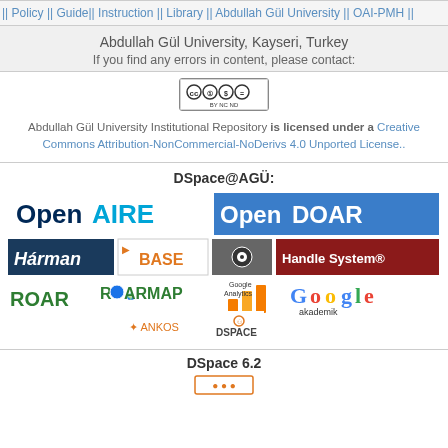|| Policy || Guide|| Instruction || Library || Abdullah Gül University || OAI-PMH ||
Abdullah Gül University, Kayseri, Turkey
If you find any errors in content, please contact:
[Figure (logo): Creative Commons BY-NC-ND license badge]
Abdullah Gül University Institutional Repository is licensed under a Creative Commons Attribution-NonCommercial-NoDerivs 4.0 Unported License..
DSpace@AGÜ:
[Figure (logo): Logos grid: OpenAIRE, OpenDOAR, Harman, BASE, Handle System, ROAR, ROARMAP, Google Analytics, Google akademik, ANKOS, DSpace]
DSpace 6.2